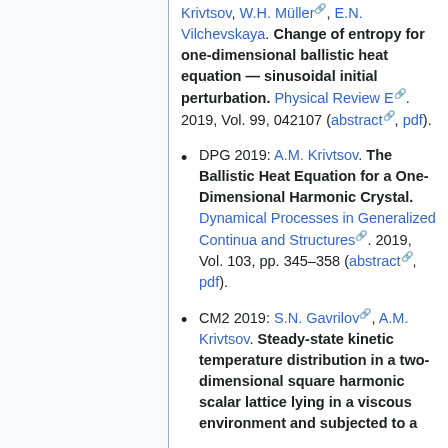Krivtsov, W.H. Müller, E.N. Vilchevskaya. Change of entropy for one-dimensional ballistic heat equation — sinusoidal initial perturbation. Physical Review E. 2019, Vol. 99, 042107 (abstract, pdf).
DPG 2019: A.M. Krivtsov. The Ballistic Heat Equation for a One-Dimensional Harmonic Crystal. Dynamical Processes in Generalized Continua and Structures. 2019, Vol. 103, pp. 345–358 (abstract, pdf).
CM2 2019: S.N. Gavrilov, A.M. Krivtsov. Steady-state kinetic temperature distribution in a two-dimensional square harmonic scalar lattice lying in a viscous environment and subjected to a...